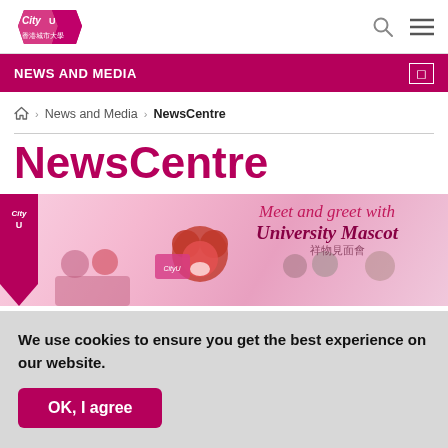CityU — News and Media
NEWS AND MEDIA
Home > News and Media > NewsCentre
NewsCentre
[Figure (photo): Banner image showing students and a university mascot (red furry character) holding CityU signs, with text 'Meet and greet with University Mascot' on a pink background]
We use cookies to ensure you get the best experience on our website.
OK, I agree